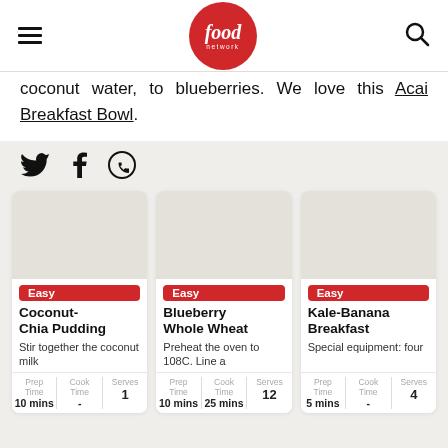Food Network
coconut water, to blueberries. We love this Acai Breakfast Bowl.
[Figure (other): Social sharing icons: Twitter bird, Facebook f, WhatsApp logo]
[Figure (other): Recipe card: Easy badge. Title: Coconut-Chia Pudding. Description: Stir together the coconut milk. Prep Time 10 mins, Cook Time -, Serves 1]
[Figure (other): Recipe card: Easy badge. Title: Blueberry Whole Wheat. Description: Preheat the oven to 108C. Line a. Prep Time 10 mins, Cook Time 25 mins, Serves 12]
[Figure (other): Recipe card: Easy badge. Title: Kale-Banana Breakfast. Description: Special equipment: four. Prep Time 5 mins, Cook Time -, Serves 4]